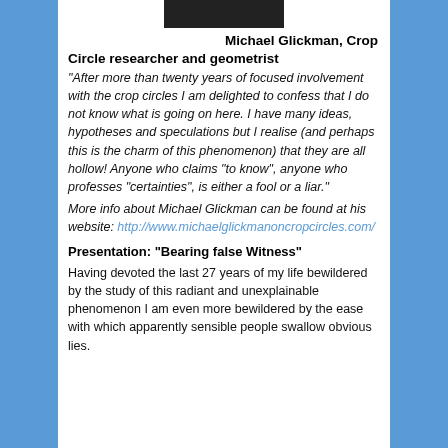[Figure (photo): Black and white photo of Michael Glickman, cropped at top of page]
Michael Glickman, Crop Circle researcher and geometrist
“After more than twenty years of focused involvement with the crop circles I am delighted to confess that I do not know what is going on here. I have many ideas, hypotheses and speculations but I realise (and perhaps this is the charm of this phenomenon) that they are all hollow! Anyone who claims “to know”, anyone who professes “certainties”, is either a fool or a liar.”
More info about Michael Glickman can be found at his website: http://www.michaelglickmanoncropcircles.com/
Presentation: “Bearing false Witness”
Having devoted the last 27 years of my life bewildered by the study of this radiant and unexplainable phenomenon I am even more bewildered by the ease with which apparently sensible people swallow obvious lies.